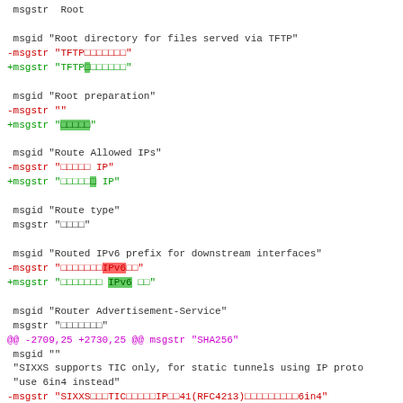diff/patch code showing gettext .po file changes with msgid/msgstr entries for TFTP, Root preparation, Route Allowed IPs, Route type, Routed IPv6 prefix, Router Advertisement-Service, SHA256, SIXXS TIC tunnel, and SIXXS-handle entries